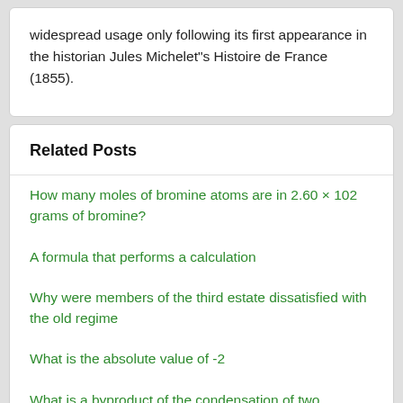widespread usage only following its first appearance in the historian Jules Michelet"s Histoire de France (1855).
Related Posts
How many moles of bromine atoms are in 2.60 × 102 grams of bromine?
A formula that performs a calculation
Why were members of the third estate dissatisfied with the old regime
What is the absolute value of -2
What is a byproduct of the condensation of two